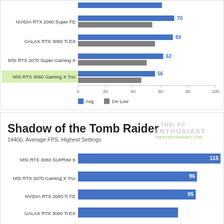[Figure (grouped-bar-chart): (partial - top portion)]
[Figure (bar-chart): Shadow of the Tomb Raider]